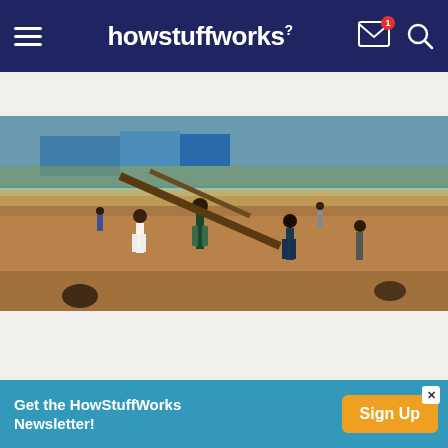howstuffworks
Sign up for our Newsletter!
[Figure (photo): A May 11, 1994 photo of a refugee camp in Tanzania showing people carrying large tree branches across dry reddish-brown terrain with blue tarps and shelters in the background.]
A May 11, 1994 photo of refugee camp in Tanzania where more than 300,000 mostly Rwandan Hutus lived after fleeing the Tutsi-led rebel Rwandan Patriotic Front. The RPF entered Rwanda to stop the genocide of Tutsis by the ruling Hutus.
© PAULA BRONSTEIN/LIAISON/GETTY IMAGES
Get the HowStuffWorks Newsletter! Sign Up